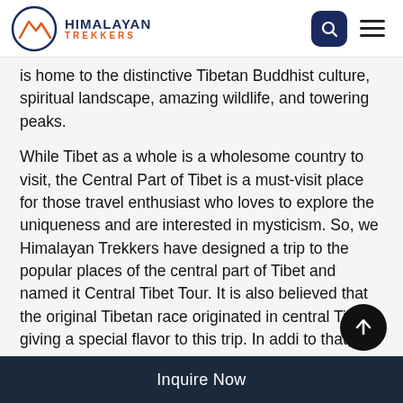HIMALAYAN TREKKERS
is home to the distinctive Tibetan Buddhist culture, spiritual landscape, amazing wildlife, and towering peaks.
While Tibet as a whole is a wholesome country to visit, the Central Part of Tibet is a must-visit place for those travel enthusiast who loves to explore the uniqueness and are interested in mysticism. So, we Himalayan Trekkers have designed a trip to the popular places of the central part of Tibet and named it Central Tibet Tour. It is also believed that the original Tibetan race originated in central Tibet, giving a special flavor to this trip. In addi to that, the Central Tibet Tour really helps you get
Inquire Now